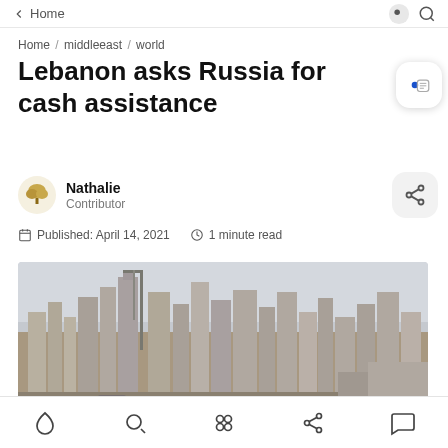Home
Home / middleeast / world
Lebanon asks Russia for cash assistance
Nathalie
Contributor
Published: April 14, 2021   1 minute read
[Figure (photo): City skyline photograph, likely Beirut, showing tall buildings and construction cranes against an overcast sky, with vehicle traffic and debris in the foreground.]
Bottom navigation bar with home, search, categories, share, and comment icons